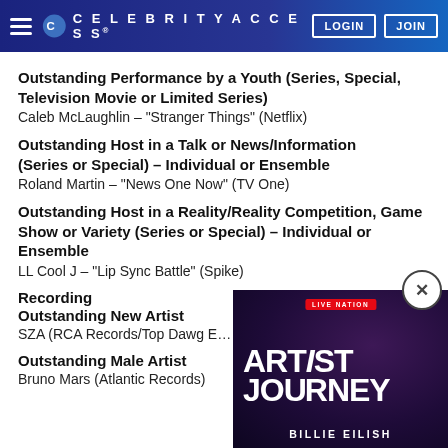CELEBRITYACCESS. LOGIN JOIN
Outstanding Performance by a Youth (Series, Special, Television Movie or Limited Series)
Caleb McLaughlin – “Stranger Things” (Netflix)
Outstanding Host in a Talk or News/Information (Series or Special) – Individual or Ensemble
Roland Martin – “News One Now” (TV One)
Outstanding Host in a Reality/Reality Competition, Game Show or Variety (Series or Special) – Individual or Ensemble
LL Cool J – “Lip Sync Battle” (Spike)
Recording
Outstanding New Artist
SZA (RCA Records/Top Dawg E…
Outstanding Male Artist
Bruno Mars (Atlantic Records)
[Figure (screenshot): Live Nation Artist Journey ad popup featuring Billie Eilish, with a close/X button]